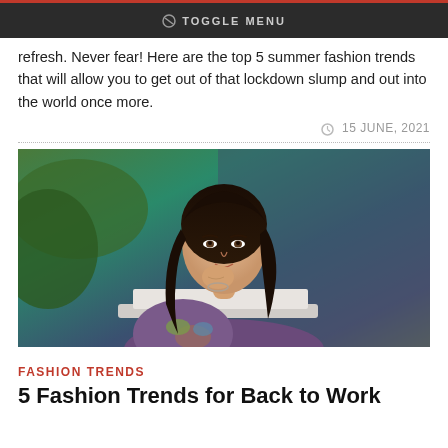TOGGLE MENU
refresh. Never fear! Here are the top 5 summer fashion trends that will allow you to get out of that lockdown slump and out into the world once more.
15 JUNE, 2021
[Figure (photo): Young woman with long dark hair sitting at a laptop, resting her chin on her hand, wearing a floral dress, with a blurred outdoor background]
FASHION TRENDS
5 Fashion Trends for Back to Work